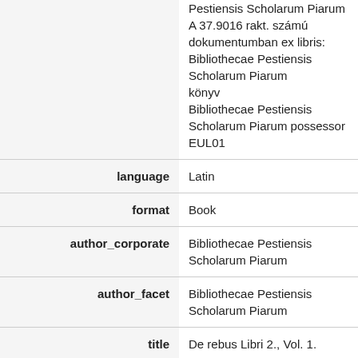| field | value |
| --- | --- |
|  | Pestiensis Scholarum Piarum A 37.9016 rakt. számú dokumentumban ex libris: Bibliothecae Pestiensis Scholarum Piarum
könyv
Bibliothecae Pestiensis Scholarum Piarum possessor
EUL01 |
| language | Latin |
| format | Book |
| author_corporate | Bibliothecae Pestiensis Scholarum Piarum |
| author_facet | Bibliothecae Pestiensis Scholarum Piarum |
| title | De rebus Libri 2., Vol. 1. |
| spellingShingle | De rebus Libri 2., Vol. 1. |